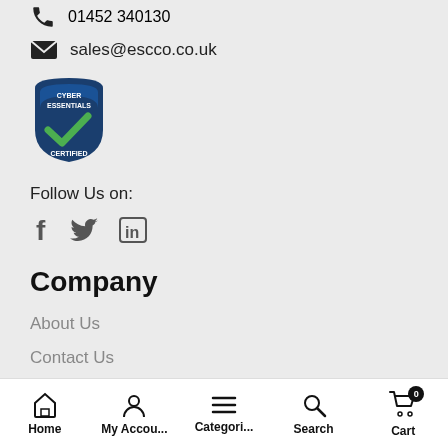01452 340130
sales@escco.co.uk
[Figure (logo): Cyber Essentials Certified badge - blue shield shape with green checkmark, text reads CYBER ESSENTIALS CERTIFIED]
Follow Us on:
[Figure (illustration): Social media icons: Facebook (f), Twitter (bird), LinkedIn (in)]
Company
About Us
Contact Us
Latest News
Home  My Accou...  Categori...  Search  Cart (0)